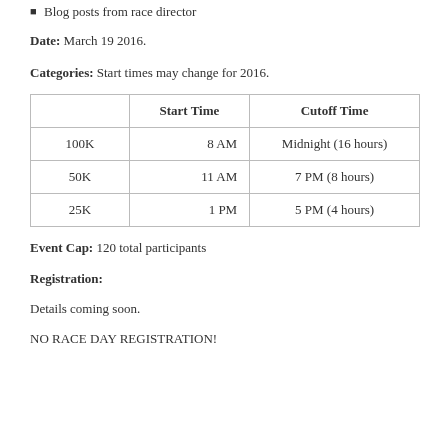Blog posts from race director
Date:  March 19 2016.
Categories:  Start times may change for 2016.
|  | Start Time | Cutoff Time |
| --- | --- | --- |
| 100K | 8 AM | Midnight (16 hours) |
| 50K | 11 AM | 7 PM (8 hours) |
| 25K | 1 PM | 5 PM (4 hours) |
Event Cap: 120 total participants
Registration:
Details coming soon.
NO RACE DAY REGISTRATION!